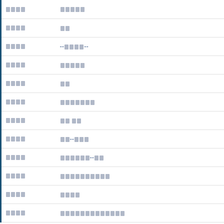| [redacted] | [redacted] | [number] |  |
| --- | --- | --- | --- |
| [redacted] | [redacted] | 7 |  |
| [redacted] | [redacted] | 7 |  |
| [redacted] | --[redacted]-- | 7 |  |
| [redacted] | [redacted] | 7 |  |
| [redacted] | [redacted] | 5 |  |
| [redacted] | [redacted] | 7 |  |
| [redacted] | [redacted] | 7 |  |
| [redacted] | [redacted]--[redacted] | 7 |  |
| [redacted] | [redacted]--[redacted] | 6 |  |
| [redacted] | [redacted] | 6 |  |
| [redacted] | [redacted] | 6 |  |
| [redacted] | [redacted] | 6 |  |